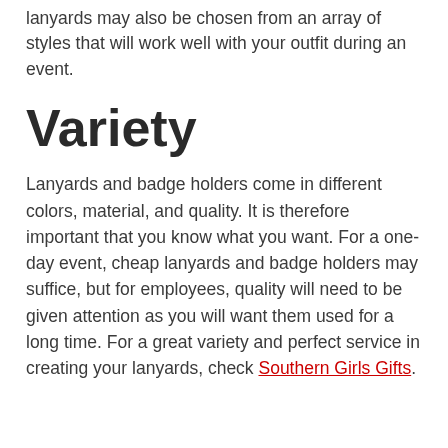lanyards may also be chosen from an array of styles that will work well with your outfit during an event.
Variety
Lanyards and badge holders come in different colors, material, and quality. It is therefore important that you know what you want. For a one-day event, cheap lanyards and badge holders may suffice, but for employees, quality will need to be given attention as you will want them used for a long time. For a great variety and perfect service in creating your lanyards, check Southern Girls Gifts.